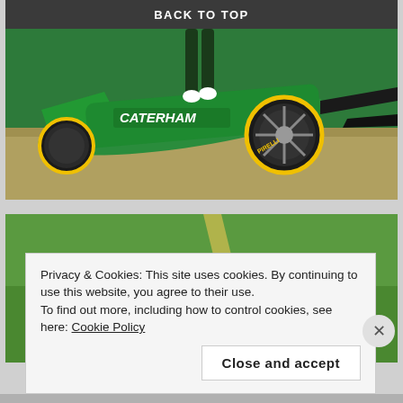BACK TO TOP
[Figure (photo): A crashed green Caterham F1 car lying on its side in a gravel trap, with a race marshal standing over it. The car shows CATERHAM branding and Pirelli tires.]
[Figure (photo): A green Caterham F1 car with AIRBUS branding on the rear wing, driving on a grass/gravel runoff area during a race, viewed from behind.]
Privacy & Cookies: This site uses cookies. By continuing to use this website, you agree to their use.
To find out more, including how to control cookies, see here: Cookie Policy
Close and accept